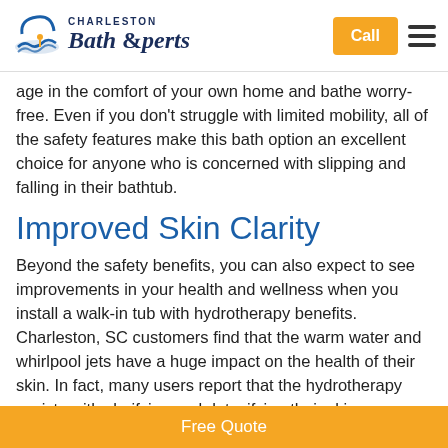Charleston Bath Experts
age in the comfort of your own home and bathe worry-free. Even if you don't struggle with limited mobility, all of the safety features make this bath option an excellent choice for anyone who is concerned with slipping and falling in their bathtub.
Improved Skin Clarity
Beyond the safety benefits, you can also expect to see improvements in your health and wellness when you install a walk-in tub with hydrotherapy benefits. Charleston, SC customers find that the warm water and whirlpool jets have a huge impact on the health of their skin. In fact, many users report that the hydrotherapy assists with clarifying and detoxifying their skin.
Free Quote